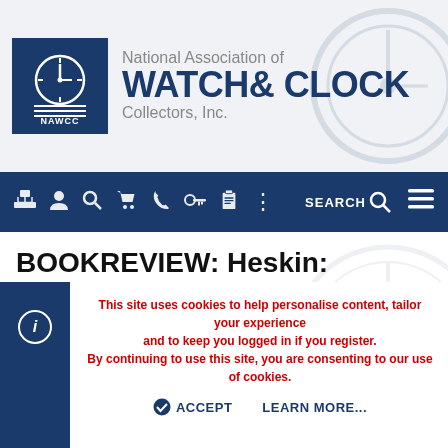[Figure (logo): NAWCC logo with clock face icon and blue square, alongside 'National Association of WATCH & CLOCK Collectors, Inc.' text]
[Figure (screenshot): Navigation bar with icons for site navigation including search, menu items, and hamburger menu on dark blue background]
BOOKREVIEW: Heskin: Sleeping in Oblivion [Harrison's RAS Precision Clock]
This site uses cookies to help personalise content, tailor your experience and to keep you logged in if you register.
By continuing to use this site, you are consenting to our use of cookies.
ACCEPT   LEARN MORE...